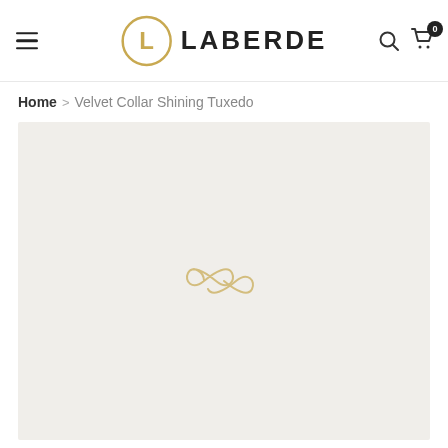LABERDE — navigation header with hamburger menu, logo, search and cart icons
Home > Velvet Collar Shining Tuxedo
[Figure (photo): Product image placeholder with light beige/grey background and a small gold infinity-style logo watermark centered in the lower portion of the image area]